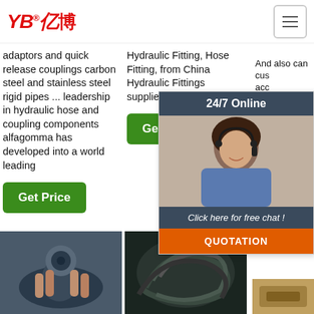[Figure (logo): YB亿博 logo in red italic text]
adaptors and quick release couplings carbon steel and stainless steel rigid pipes ... leadership in hydraulic hose and coupling components alfagomma has developed into a world leading
Hydraulic Fitting, Hose Fitting, from China Hydraulic Fittings suppliers to global buyers.
And also can cu... acc... cu... req... Bra... Ma... fem... SAB... fittin...
[Figure (infographic): 24/7 Online chat popup with agent photo, 'Click here for free chat!' message, and QUOTATION orange button]
[Figure (other): TOP navigation button with orange dots icon]
[Figure (photo): Hand holding hydraulic hose fitting]
[Figure (photo): Coiled hydraulic hoses]